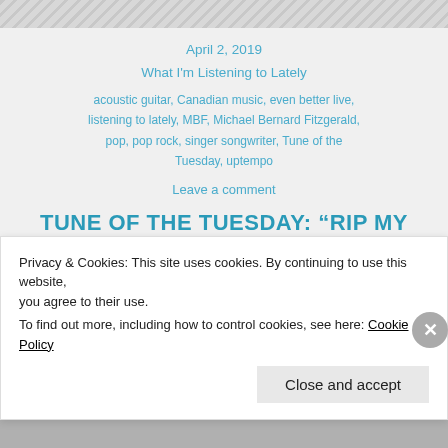April 2, 2019
What I'm Listening to Lately
acoustic guitar, Canadian music, even better live, listening to lately, MBF, Michael Bernard Fitzgerald, pop, pop rock, singer songwriter, Tune of the Tuesday, uptempo
Leave a comment
TUNE OF THE TUESDAY: “RIP MY HEART OUT” – MICHAEL BERNARD FITZGERALD
Just because
Privacy & Cookies: This site uses cookies. By continuing to use this website, you agree to their use.
To find out more, including how to control cookies, see here: Cookie Policy
Close and accept